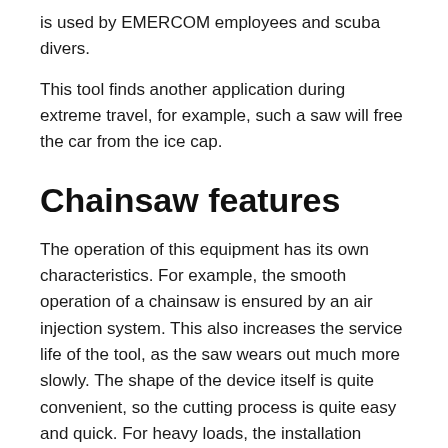is used by EMERCOM employees and scuba divers.
This tool finds another application during extreme travel, for example, such a saw will free the car from the ice cap.
Chainsaw features
The operation of this equipment has its own characteristics. For example, the smooth operation of a chainsaw is ensured by an air injection system. This also increases the service life of the tool, as the saw wears out much more slowly. The shape of the device itself is quite convenient, so the cutting process is quite easy and quick. For heavy loads, the installation provides for a three-section crankshaft. Ice can be cut with any chainsaw, but in each case the rule must be observed. do not use oil.
The fact is that in a different situation it reduces